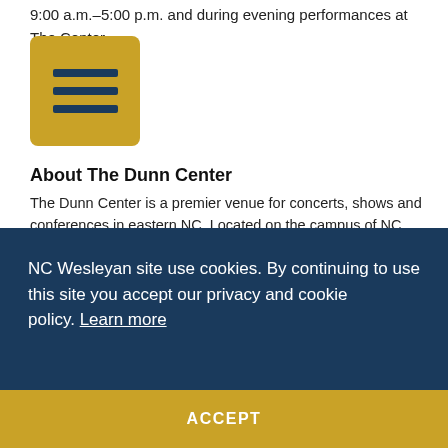9:00 a.m.–5:00 p.m. and during evening performances at The Dunn Center.
[Figure (other): Gold/yellow rounded square icon with three horizontal dark blue lines representing a menu/hamburger icon]
About The Dunn Center
The Dunn Center is a premier venue for concerts, shows and conferences in eastern NC. Located on the campus of NC Wesleyan University, in the heart of Rocky Mount, The Dunn Center is proud to host the Wesleyan Season Series of cultural events and concerts. In addition to these world-class performances, The Dunn Center features a variety of campus and community events, including Wesleyan Players
NC Wesleyan site use cookies. By continuing to use this site you accept our privacy and cookie policy. Learn more
ACCEPT